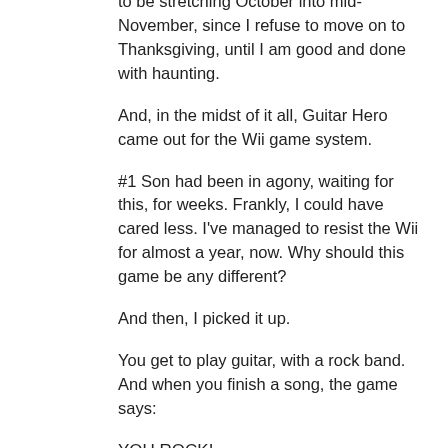to be stretching October into mid-November, since I refuse to move on to Thanksgiving, until I am good and done with haunting.
And, in the midst of it all, Guitar Hero came out for the Wii game system.
#1 Son had been in agony, waiting for this, for weeks. Frankly, I could have cared less. I've managed to resist the Wii for almost a year, now. Why should this game be any different?
And then, I picked it up.
You get to play guitar, with a rock band. And when you finish a song, the game says:
YOU ROCK!
Now, I've often suspected that I rock. But I've never had positive proof. Now, I can definitively say, "I rock!" Especially when playing "Black Sunshine" or "School's Out". And I am feeling most cocky, now that I beat Slash from Guns and Roses, in a guitar battle.